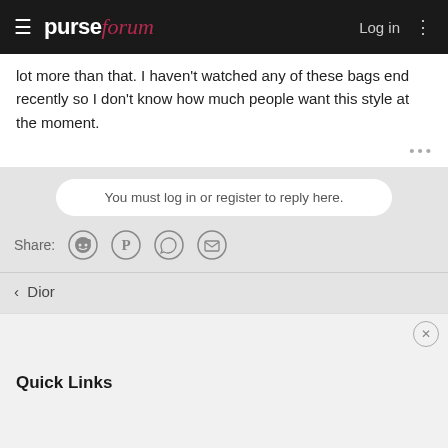purseforum — Log in
lot more than that. I haven't watched any of these bags end recently so I don't know how much people want this style at the moment.
You must log in or register to reply here.
Share:
< Dior
Quick Links